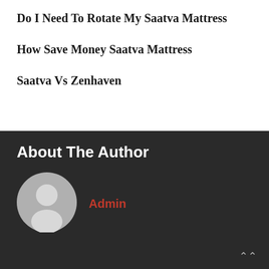Do I Need To Rotate My Saatva Mattress
How Save Money Saatva Mattress
Saatva Vs Zenhaven
About The Author
Admin